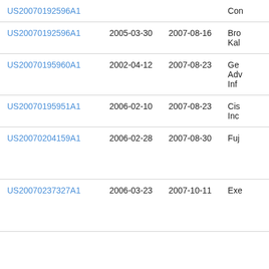| Patent Number | Filing Date | Publication Date | Assignee |
| --- | --- | --- | --- |
| US20070192596A1 |  |  | Con… |
| US20070192596A1 | 2005-03-30 | 2007-08-16 | Bro… Ka… |
| US20070195960A1 | 2002-04-12 | 2007-08-23 | Ge… Ad… Inf… |
| US20070195951A1 | 2006-02-10 | 2007-08-23 | Cis… Inc |
| US20070204159A1 | 2006-02-28 | 2007-08-30 | Fuj… |
| US20070237327A1 | 2006-03-23 | 2007-10-11 | Exe… |